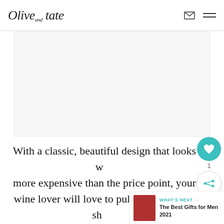Olive and Tate
[Figure (photo): Large image placeholder area, appears blank/white in this view]
With a classic, beautiful design that looks way more expensive than the price point, your wine lover will love to pull this out when she is entertaining her fellow win...